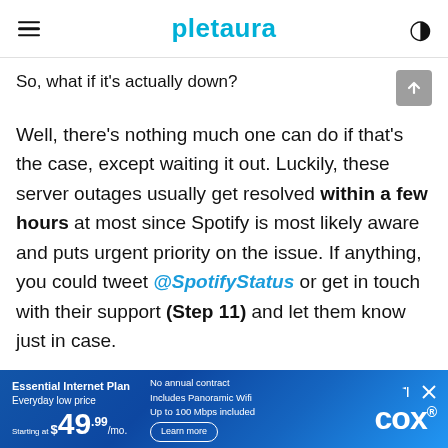pletaura
So, what if it's actually down?
Well, there's nothing much one can do if that's the case, except waiting it out. Luckily, these server outages usually get resolved within a few hours at most since Spotify is most likely aware and puts urgent priority on the issue. If anything, you could tweet @SpotifyStatus or get in touch with their support (Step 11) and let them know just in case.
[Figure (other): Cox Essential Internet Plan advertisement banner. Text: Essential Internet Plan, Everyday low price, Starting at $49.99/mo. No annual contract, includes Panoramic Wifi, Up to 100 Mbps included. Learn more. Cox logo.]